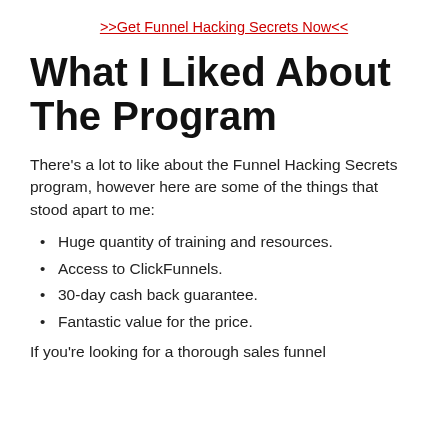>>Get Funnel Hacking Secrets Now<<
What I Liked About The Program
There’s a lot to like about the Funnel Hacking Secrets program, however here are some of the things that stood apart to me:
Huge quantity of training and resources.
Access to ClickFunnels.
30-day cash back guarantee.
Fantastic value for the price.
If you’re looking for a thorough sales funnel